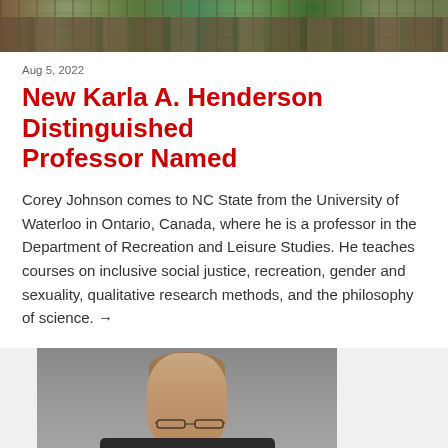[Figure (photo): Aerial or wide-angle photo of a university campus with brick buildings and green trees]
Aug 5, 2022
New Karla A. Henderson Distinguished Professor Named
Corey Johnson comes to NC State from the University of Waterloo in Ontario, Canada, where he is a professor in the Department of Recreation and Leisure Studies. He teaches courses on inclusive social justice, recreation, gender and sexuality, qualitative research methods, and the philosophy of science. →
[Figure (photo): Portrait photo of a man with glasses and light brown hair wearing a dark jacket, against a gray background]